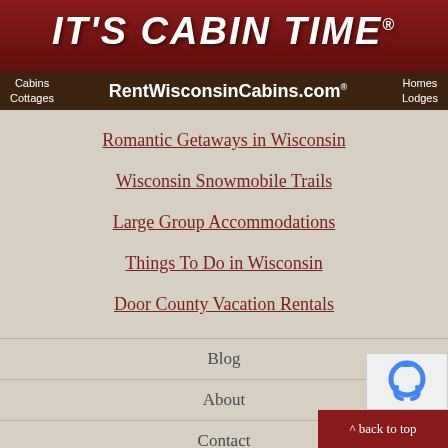[Figure (logo): It's Cabin Time logo with red banner and tagline]
Romantic Getaways in Wisconsin
Wisconsin Snowmobile Trails
Large Group Accommodations
Things To Do in Wisconsin
Door County Vacation Rentals
Blog
About
Contact
Testimonials
Links
Community